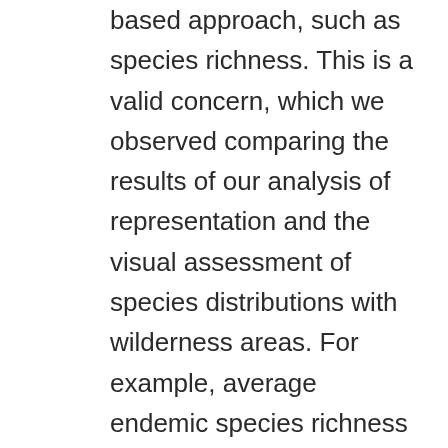based approach, such as species richness. This is a valid concern, which we observed comparing the results of our analysis of representation and the visual assessment of species distributions with wilderness areas. For example, average endemic species richness for birds was 2.1 species for both wilderness areas and across CONUS, suggesting adequate representation by this measure. However, the spatial pattern of endemic birds and wilderness areas presents a different conclusion. Along the Texas gulf coast, which is an area of high bird